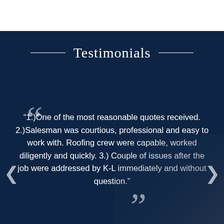Testimonials
“1.)One of the most reasonable quotes received. 2.)Salesman was courtious, professional and easy to work with. Roofing crew were capable, worked diligently and quickly. 3.) Couple of issues after the job were addressed by K-L immediately and without question.”